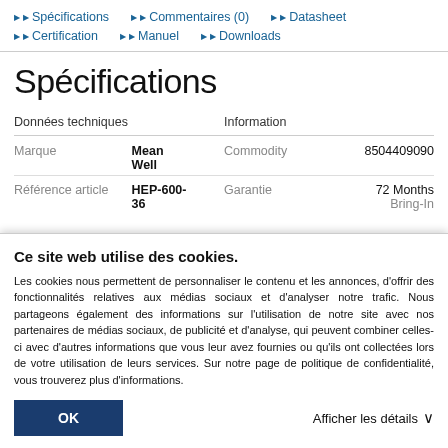Spécifications | Commentaires (0) | Datasheet | Certification | Manuel | Downloads
Spécifications
| Données techniques | Information |
| --- | --- |
| Marque | Mean Well | Commodity | 8504409090 |
| Référence article | HEP-600-36 | Garantie | 72 Months Bring-In |
Ce site web utilise des cookies. Les cookies nous permettent de personnaliser le contenu et les annonces, d'offrir des fonctionnalités relatives aux médias sociaux et d'analyser notre trafic. Nous partageons également des informations sur l'utilisation de notre site avec nos partenaires de médias sociaux, de publicité et d'analyse, qui peuvent combiner celles-ci avec d'autres informations que vous leur avez fournies ou qu'ils ont collectées lors de votre utilisation de leurs services. Sur notre page de politique de confidentialité, vous trouverez plus d'informations.
OK | Afficher les détails